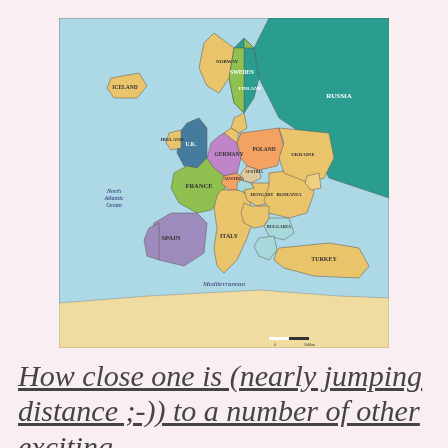[Figure (map): Political map of Europe showing countries in different colors (yellow, green, teal, purple, pink, blue, orange) with country names labeled. Notable labels include Iceland, Norway, Sweden, Finland, Russia, UK, Ireland, France, Spain, Germany, Poland, Italy, Turkey, Ukraine, and others. The map shows the North Atlantic Ocean on the left and Mediterranean Sea at the bottom.]
How close one is (nearly jumping distance ;-)) to a number of other exciting